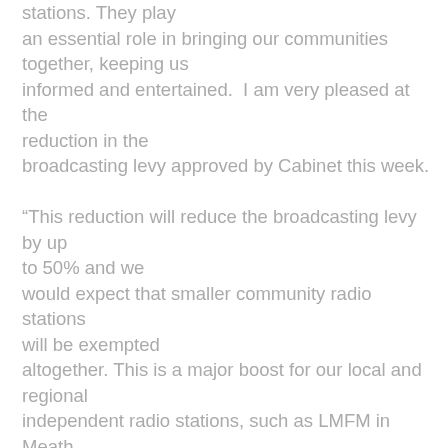stations. They play an essential role in bringing our communities together, keeping us informed and entertained.  I am very pleased at the reduction in the broadcasting levy approved by Cabinet this week.

“This reduction will reduce the broadcasting levy by up to 50% and we would expect that smaller community radio stations will be exempted altogether. This is a major boost for our local and regional independent radio stations, such as LMFM in Meath, Midlands Radio in Westmeath, and neighbouring Shannonside/Northern Sound Radio which